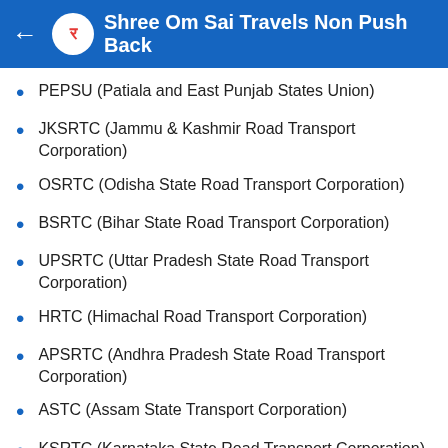Shree Om Sai Travels Non Push Back
PEPSU (Patiala and East Punjab States Union)
JKSRTC (Jammu & Kashmir Road Transport Corporation)
OSRTC (Odisha State Road Transport Corporation)
BSRTC (Bihar State Road Transport Corporation)
UPSRTC (Uttar Pradesh State Road Transport Corporation)
HRTC (Himachal Road Transport Corporation)
APSRTC (Andhra Pradesh State Road Transport Corporation)
ASTC (Assam State Transport Corporation)
KSRTC (Karnataka State Road Transport Corporation)
View More